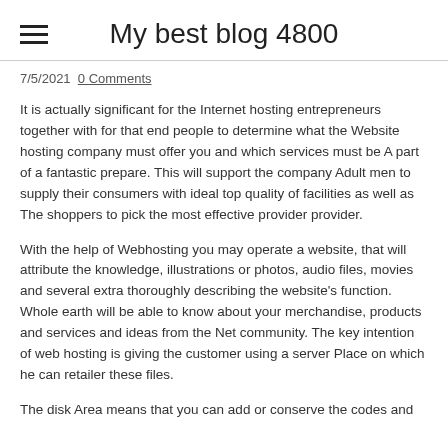My best blog 4800
7/5/2021  0 Comments
It is actually significant for the Internet hosting entrepreneurs together with for that end people to determine what the Website hosting company must offer you and which services must be A part of a fantastic prepare. This will support the company Adult men to supply their consumers with ideal top quality of facilities as well as The shoppers to pick the most effective provider provider.
With the help of Webhosting you may operate a website, that will attribute the knowledge, illustrations or photos, audio files, movies and several extra thoroughly describing the website's function. Whole earth will be able to know about your merchandise, products and services and ideas from the Net community. The key intention of web hosting is giving the customer using a server Place on which he can retailer these files.
The disk Area means that you can add or conserve the codes and